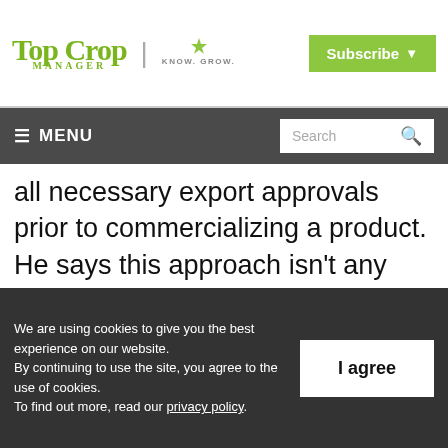Top Crop Manager | Know. Grow. | Subscribe
≡ MENU | Search
all necessary export approvals prior to commercializing a product. He says this approach isn't any different for any technology, chemistry or biotech innovation, and that the last thing the company would want to do is cause marketing issues for
We are using cookies to give you the best experience on our website. By continuing to use the site, you agree to the use of cookies. To find out more, read our privacy policy.
I agree